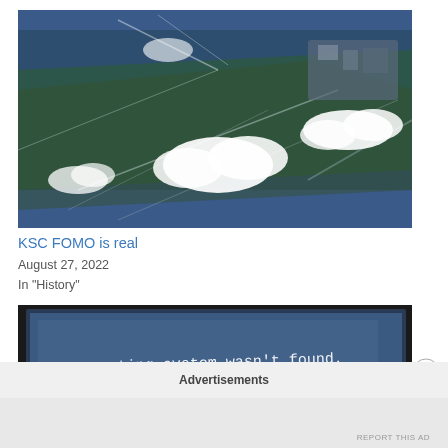[Figure (photo): Aerial view from airplane window showing dark blue-green farmland/terrain below with white clouds scattered, and what appears to be a coastal or industrial area in the upper right]
KSC FOMO is real
August 27, 2022
In "History"
[Figure (photo): Close-up photo of a laptop or computer screen displaying a blue error message reading: An operating system wasn't found. contain an operating system. Press Ctrl+Alt+Del to...]
Advertisements
REPORT THIS AD